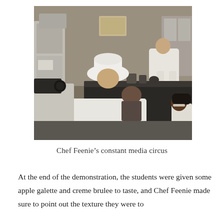[Figure (photo): A kitchen demonstration scene. A chef in white coat stands at a counter preparing food, while students in white chef coats and hats watch. A camera operator with a large camera films from the left side. Several people are seated around a dark counter observing the demonstration.]
Chef Feenie’s constant media circus
At the end of the demonstration, the students were given some apple galette and creme brulee to taste, and Chef Feenie made sure to point out the texture they were to